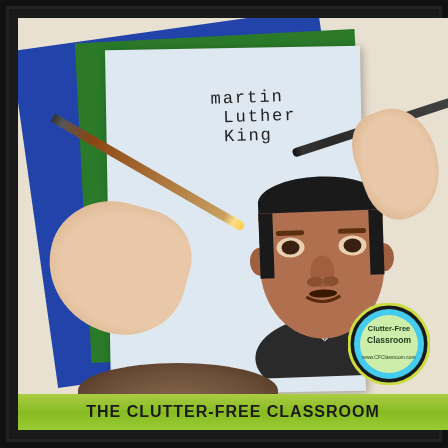[Figure (photo): A child drawing a portrait of Martin Luther King Jr. on white paper placed on blue and green construction paper. The child's hands are visible holding pencils. Another child's head is visible at the bottom of the image. The drawing shows MLK's face with a suit and tie, with 'martin Luther King' written at the top.]
THE CLUTTER-FREE CLASSROOM